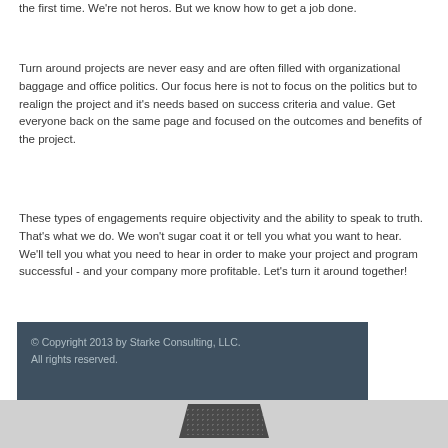the first time. We're not heros. But we know how to get a job done.
Turn around projects are never easy and are often filled with organizational baggage and office politics. Our focus here is not to focus on the politics but to realign the project and it's needs based on success criteria and value. Get everyone back on the same page and focused on the outcomes and benefits of the project.
These types of engagements require objectivity and the ability to speak to truth. That's what we do. We won't sugar coat it or tell you what you want to hear. We'll tell you what you need to hear in order to make your project and program successful - and your company more profitable. Let's turn it around together!
© Copyright 2013 by Starke Consulting, LLC. All rights reserved.